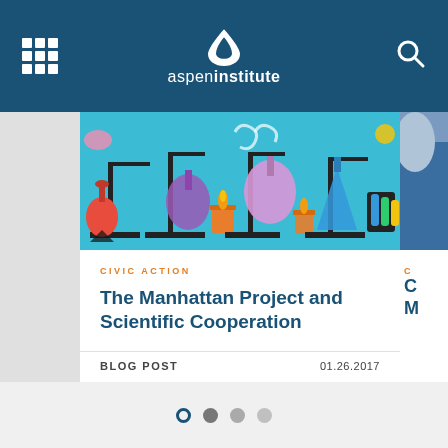Aspen Institute - navigation header with grid menu icon, logo, and search icon
[Figure (illustration): Colorful cartoon illustration of laboratory equipment including flasks, beakers, test tubes, Bunsen burners on stands against a blue background]
CIVIC ACTION
The Manhattan Project and Scientific Cooperation
BLOG POST   01.26.2017
[Figure (photo): Partial view of a person in blue clothing, right side card cut off]
C (cut off category label)
C... M... (cut off title text)